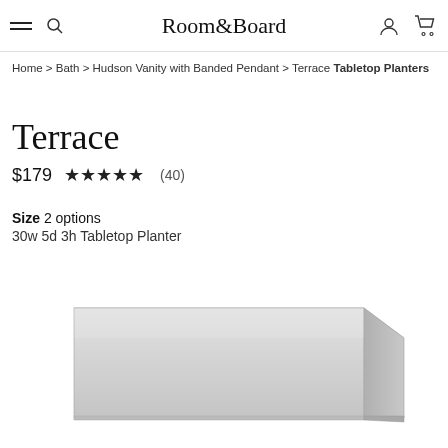Room&Board
Home > Bath > Hudson Vanity with Banded Pendant > Terrace Tabletop Planters
Terrace
$179  ★★★★★ (40)
Size  2 options
30w 5d 3h Tabletop Planter
[Figure (photo): A long rectangular stainless steel tabletop planter with a brushed silver finish, shown in a perspective view from slightly above and to the side. The planter is shallow and wide.]